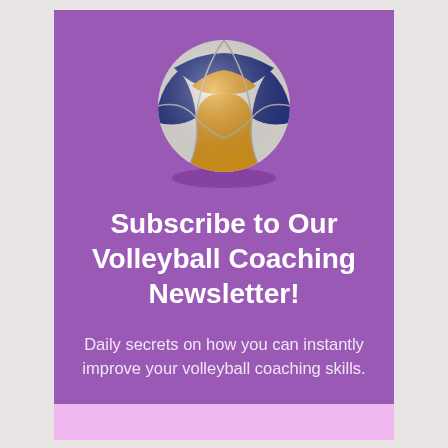[Figure (illustration): A volleyball with blue, orange/yellow, and white panels, shown in 3D perspective with a slight shadow beneath it, centered on a purple background.]
Subscribe to Our Volleyball Coaching Newsletter!
Daily secrets on how you can instantly improve your volleyball coaching skills.